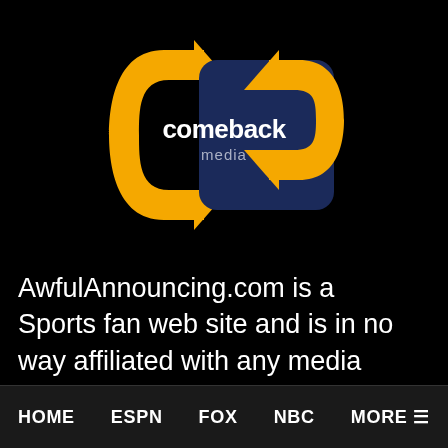[Figure (logo): Comeback Media logo: yellow/gold arrow-shaped 'cb' letters with 'comeback' in white text and 'media' in gray text on a dark navy background, on a black page background]
AwfulAnnouncing.com is a Sports fan web site and is in no way affiliated with any media organization, any professional sports league, team, organization, or its Properties. This site is for informational and entertainment
HOME   ESPN   FOX   NBC   MORE ☰